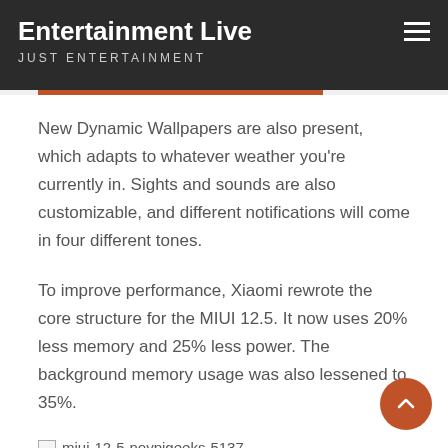Entertainment Live
JUST ENTERTAINMENT
New Dynamic Wallpapers are also present, which adapts to whatever weather you're currently in. Sights and sounds are also customizable, and different notifications will come in four different tones.
To improve performance, Xiaomi rewrote the core structure for the MIUI 12.5. It now uses 20% less memory and 25% less power. The background memory usage was also lessened to 35%.
[Figure (other): Broken image placeholder with alt text: miui-12-5-noypigeeks-5137]